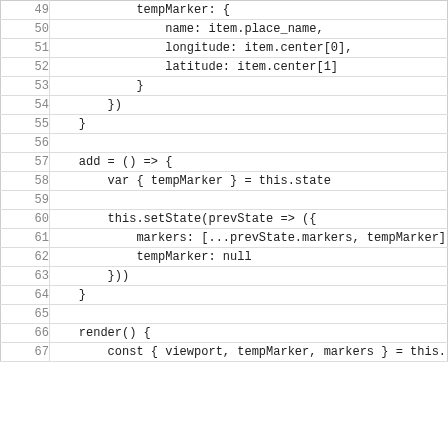[Figure (screenshot): Code editor showing JavaScript source code lines 49-67, with line numbers on the left and monospace code on the right. The code shows a tempMarker object with name, longitude, latitude properties, closing braces, an add arrow function using setState with markers array spread and tempMarker null, and the beginning of a render function.]